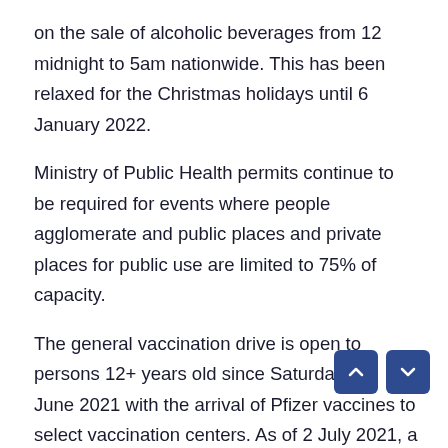on the sale of alcoholic beverages from 12 midnight to 5am nationwide. This has been relaxed for the Christmas holidays until 6 January 2022.
Ministry of Public Health permits continue to be required for events where people agglomerate and public places and private places for public use are limited to 75% of capacity.
The general vaccination drive is open to persons 12+ years old since Saturday, 12 June 2021 with the arrival of Pfizer vaccines to select vaccination centers. As of 2 July 2021, a third Pfizer booster shot has been available.
By global standards, the Dominican Republic has been